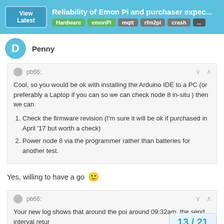Reliability of Emon Pi and purchaser expec... | Hardware emonPi mqtt rfm2pi crash ...
Penny
pb66:
Cool, so you would be ok with installing the Arduino IDE to a PC (or preferably a Laptop if you can so we can check node 8 in-situ ) then we can
1. Check the firmware revision (I'm sure it will be ok if purchased in April '17 but worth a check)
2. Power node 8 via the programmer rather than batteries for another test.
Yes, willing to have a go 🙂
pb66:
Your new log shows that around the poi around 09:32am, the send interval retur
13 / 21